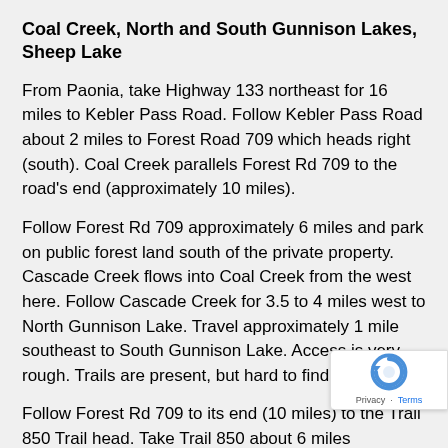Coal Creek, North and South Gunnison Lakes, Sheep Lake
From Paonia, take Highway 133 northeast for 16 miles to Kebler Pass Road. Follow Kebler Pass Road about 2 miles to Forest Road 709 which heads right (south). Coal Creek parallels Forest Rd 709 to the road's end (approximately 10 miles).
Follow Forest Rd 709 approximately 6 miles and park on public forest land south of the private property. Cascade Creek flows into Coal Creek from the west here. Follow Cascade Creek for 3.5 to 4 miles west to North Gunnison Lake. Travel approximately 1 mile southeast to South Gunnison Lake. Access is very rough. Trails are present, but hard to find.
Follow Forest Rd 709 to its end (10 miles) to the Trail 850 Trail head. Take Trail 850 about 6 miles southeast to the base of the mountains where several trails come together. Sheep Lake lies approx. 1 mile southeast of this point No camping is allowed at Sheep Lake. A Forest map is recommended as there are several trails in this area.
North and Middle Anthracite Creeks, Williams Creek La… Tomahawk Reservoir, and North Deep Creek Lake; Ruby